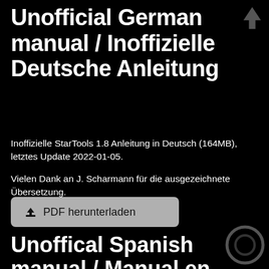Unofficial German manual / Inoffizielle Deutsche Anleitung
Inoffizielle StarTools 1.8 Anleitung in Deutsch (164MB), letztes Update 2022-01-05.
Vielen Dank an J. Scharmann für die ausgezeichnete Übersetzung.
[Figure (other): Download button labeled 'PDF herunterladen' with a download arrow icon, grey rounded rectangle button on black background]
Unoffical Spanish manual / Manual en Espanol